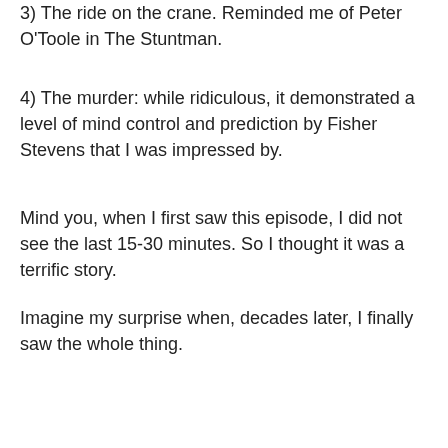3) The ride on the crane. Reminded me of Peter O'Toole in The Stuntman.
4) The murder: while ridiculous, it demonstrated a level of mind control and prediction by Fisher Stevens that I was impressed by.
Mind you, when I first saw this episode, I did not see the last 15-30 minutes. So I thought it was a terrific story.
Imagine my surprise when, decades later, I finally saw the whole thing.
Oh. My. God.
The ending is easily the worst of any Columbo story, ever. I have no idea what the writers were thinking. What if I'd see the whole story back in the early ‘90s when it was first aired? I might not have fallen in love with Columbo’s classic episodes on the A&E Mystery Theater broadcasts. But the first half of this episode was enough to get me into all the classic episodes.
In terms of careful plotting, discovery of clues, etc., that way too much falls into the Lieutenant’s lap. It’s not a